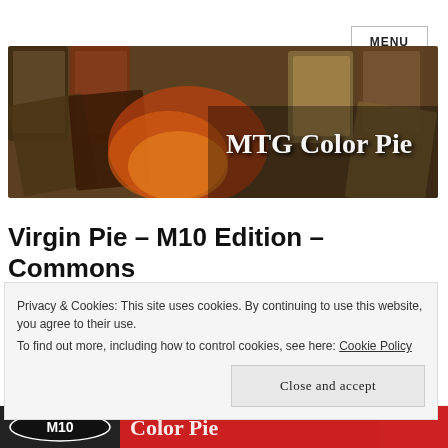MENU
[Figure (photo): Banner image of Magic: The Gathering cards spread out, with the text 'MTG Color Pie' overlaid in a white decorative font on the right side.]
Virgin Pie – M10 Edition – Commons
Privacy & Cookies: This site uses cookies. By continuing to use this website, you agree to their use.
To find out more, including how to control cookies, see here: Cookie Policy
Close and accept
[Figure (photo): Bottom strip showing partial MTG M10 edition logo on the left (dark background) and red MTG Color Pie logo on the right.]